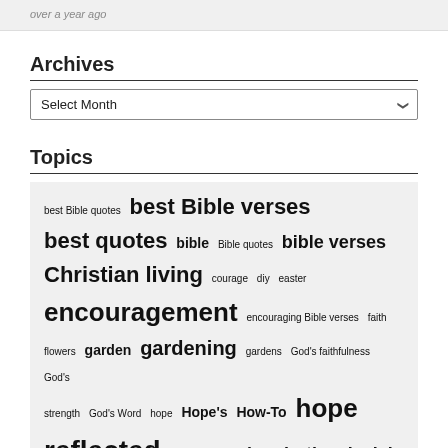over a year ago
Archives
Select Month
Topics
best Bible quotes best Bible verses best quotes bible Bible quotes bible verses Christian living courage diy easter encouragement encouraging Bible verses faith flowers garden gardening gardens God's faithfulness God's strength God's Word hope Hope's How-To hope reflected hope she wrote inspiration isaiah joy